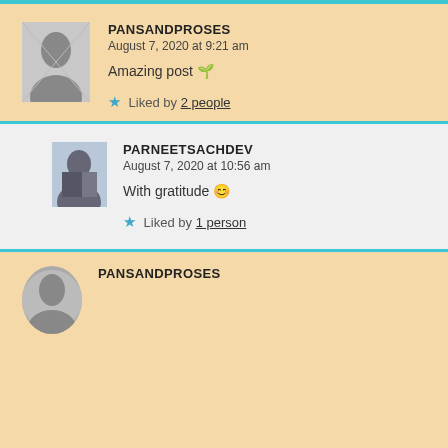PANSANDPROSES
August 7, 2020 at 9:21 am
Amazing post 🌱
Liked by 2 people
PARNEETSACHDEV
August 7, 2020 at 10:56 am
With gratitude 😊
Liked by 1 person
PANSANDPROSES